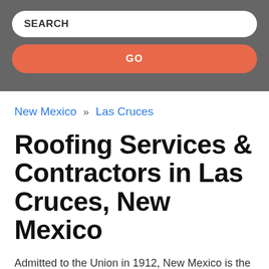[Figure (screenshot): Search bar with text SEARCH and a GO button below it on a dark gray background]
New Mexico » Las Cruces
Roofing Services & Contractors in Las Cruces, New Mexico
Admitted to the Union in 1912, New Mexico is the 47th state of the United States. It is